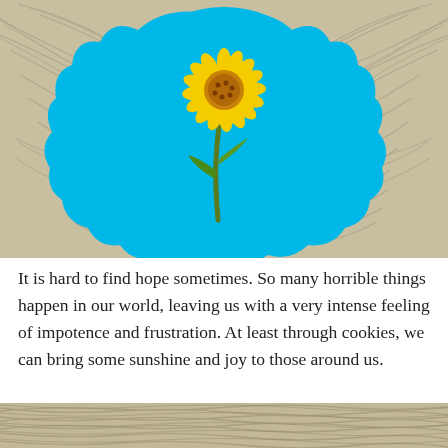[Figure (photo): A decorated cookie with blue frosting in a cloud-like shape, featuring a yellow sunflower with a green stem and leaves, placed on a textured woven surface with radiating tan/cream wave patterns.]
It is hard to find hope sometimes. So many horrible things happen in our world, leaving us with a very intense feeling of impotence and frustration. At least through cookies, we can bring some sunshine and joy to those around us.
[Figure (photo): Bottom portion of a textured woven/straw surface with radiating wave patterns in tan and cream tones.]